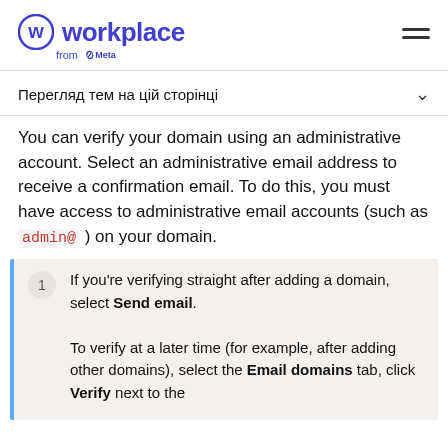Workplace from Meta
Перегляд тем на цій сторінці
You can verify your domain using an administrative account. Select an administrative email address to receive a confirmation email. To do this, you must have access to administrative email accounts (such as admin@ ) on your domain.
1 If you're verifying straight after adding a domain, select Send email.
To verify at a later time (for example, after adding other domains), select the Email domains tab, click Verify next to the